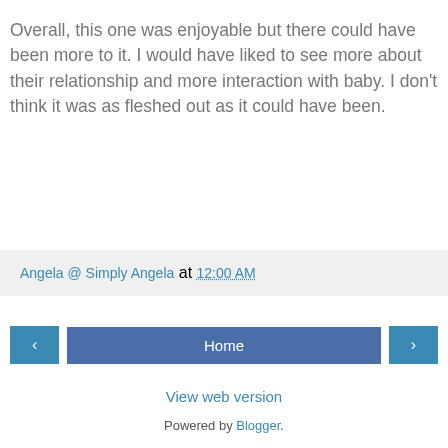Overall, this one was enjoyable but there could have been more to it. I would have liked to see more about their relationship and more interaction with baby. I don't think it was as fleshed out as it could have been.
Angela @ Simply Angela at 12:00 AM
Home
View web version
Powered by Blogger.